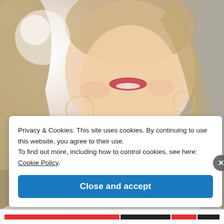[Figure (photo): Selfie photo of a woman with blonde hair smiling, taken in a car, bright light coming from the upper left. The lower half of her face and neck are visible. She is wearing a white top and hoop earrings.]
Privacy & Cookies: This site uses cookies. By continuing to use this website, you agree to their use.
To find out more, including how to control cookies, see here: Cookie Policy
Close and accept